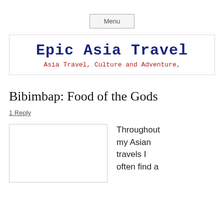Menu
Epic Asia Travel
Asia Travel, Culture and Adventure,
Bibimbap: Food of the Gods
1 Reply
[Figure (photo): Image placeholder, white box with border]
Throughout my Asian travels I often find a